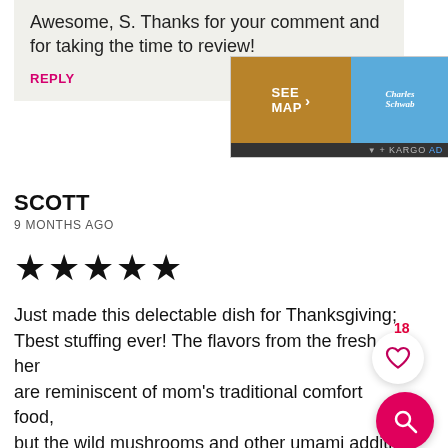Awesome, S. Thanks for your comment and for taking the time to review!
REPLY
[Figure (infographic): Advertisement overlay with SEE MAP button in brown/gold and Charles Schwab blue button, with KARGO AD label at bottom]
SCOTT
9 MONTHS AGO
[Figure (other): 5 filled black star rating icons]
Just made this delectable dish for Thanksgiving; The best stuffing ever! The flavors from the fresh herbs are reminiscent of mom's traditional comfort food, but the wild mushrooms and other umami additions take this recipe to new levels. Thanksgiving at its finest, thanks again Nisha!
REPLY